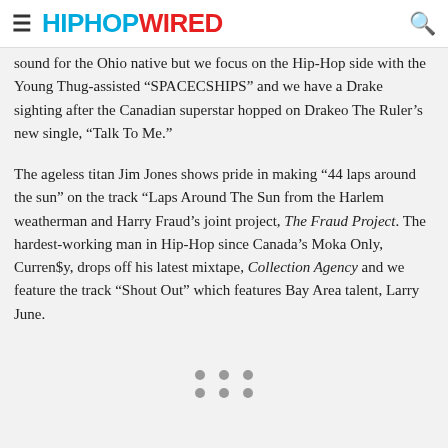HIPHOPWIRED
sound for the Ohio native but we focus on the Hip-Hop side with the Young Thug-assisted “SPACECSHIPS” and we have a Drake sighting after the Canadian superstar hopped on Drakeo The Ruler’s new single, “Talk To Me.”
The ageless titan Jim Jones shows pride in making “44 laps around the sun” on the track “Laps Around The Sun from the Harlem weatherman and Harry Fraud’s joint project, The Fraud Project. The hardest-working man in Hip-Hop since Canada’s Moka Only, Curren$y, drops off his latest mixtape, Collection Agency and we feature the track “Shout Out” which features Bay Area talent, Larry June.